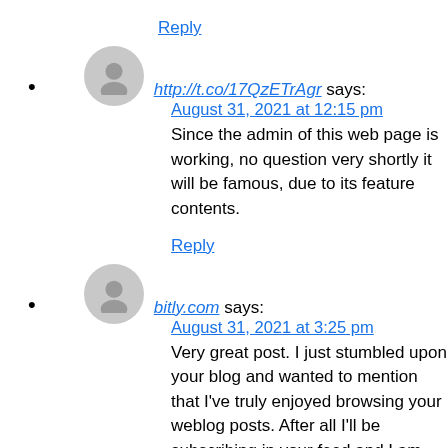Reply
http://t.co/17QzETrAgr says:
August 31, 2021 at 12:15 pm
Since the admin of this web page is working, no question very shortly it will be famous, due to its feature contents.
Reply
bitly.com says:
August 31, 2021 at 3:25 pm
Very great post. I just stumbled upon your blog and wanted to mention that I've truly enjoyed browsing your weblog posts. After all I'll be subscribing in your feed and I am hoping you write once more